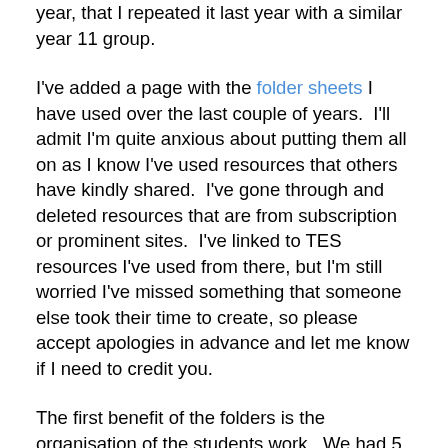year, that I repeated it last year with a similar year 11 group.
I've added a page with the folder sheets I have used over the last couple of years.  I'll admit I'm quite anxious about putting them all on as I know I've used resources that others have kindly shared.  I've gone through and deleted resources that are from subscription or prominent sites.  I've linked to TES resources I've used from there, but I'm still worried I've missed something that someone else took their time to create, so please accept apologies in advance and let me know if I need to credit you.
The first benefit of the folders is the organisation of the students work.  We had 5 sections: Classwork, Homework, Assessments, Practice Papers and BBQs (more on those later!). It's great to sling the assessments and past papers in one of the sections.